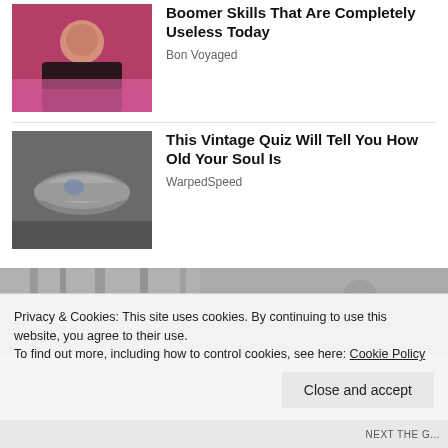[Figure (photo): Woman in black outfit lying on pink/magenta couch]
Boomer Skills That Are Completely Useless Today
Bon Voyaged
[Figure (photo): Close-up of gray car door handle or armrest]
This Vintage Quiz Will Tell You How Old Your Soul Is
WarpedSpeed
[Figure (photo): Blurry black and white background photo]
Privacy & Cookies: This site uses cookies. By continuing to use this website, you agree to their use.
To find out more, including how to control cookies, see here: Cookie Policy
Close and accept